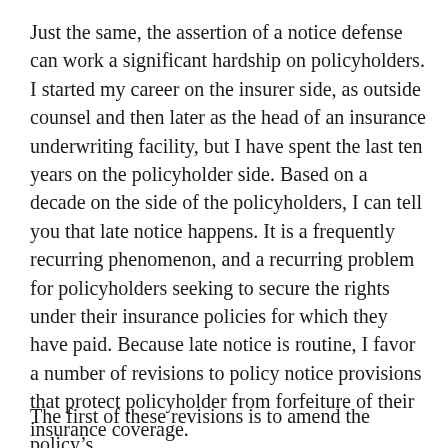Just the same, the assertion of a notice defense can work a significant hardship on policyholders. I started my career on the insurer side, as outside counsel and then later as the head of an insurance underwriting facility, but I have spent the last ten years on the policyholder side. Based on a decade on the side of the policyholders, I can tell you that late notice happens. It is a frequently recurring phenomenon, and a recurring problem for policyholders seeking to secure the rights under their insurance policies for which they have paid. Because late notice is routine, I favor a number of revisions to policy notice provisions that protect policyholder from forfeiture of their insurance coverage.
The first of these revisions is to amend the policy’s